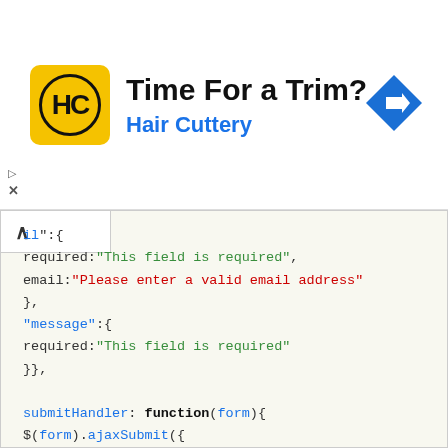[Figure (screenshot): Hair Cuttery advertisement banner with logo, title 'Time For a Trim?', subtitle 'Hair Cuttery', and a blue navigation diamond icon]
il":{
  required:"This field is required",
  email:"Please enter a valid email address"
  },
  "message":{
  required:"This field is required"
  }},

  submitHandler: function(form){
  $(form).ajaxSubmit({
  target: '#preview',
  success: function() {
  $('#formbox').slideUp('fast');
  }
  });